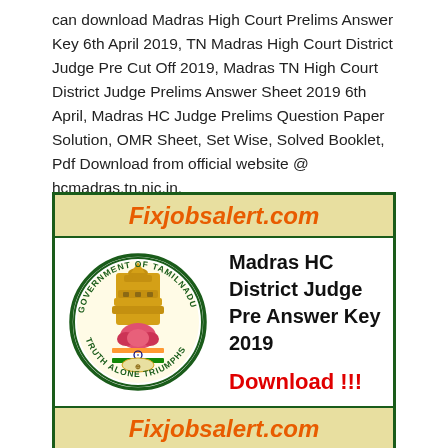can download Madras High Court Prelims Answer Key 6th April 2019, TN Madras High Court District Judge Pre Cut Off 2019, Madras TN High Court District Judge Prelims Answer Sheet 2019 6th April, Madras HC Judge Prelims Question Paper Solution, OMR Sheet, Set Wise, Solved Booklet, Pdf Download from official website @ hcmadras.tn.nic.in.
[Figure (infographic): Fixjobsalert.com branded card with Tamil Nadu Government seal/logo. Contains header 'Fixjobsalert.com' in orange italic, a middle section with Tamil Nadu government emblem on the left and bold text 'Madras HC District Judge Pre Answer Key 2019' and 'Download !!!' in red on the right, and a footer 'Fixjobsalert.com' in orange italic. The card has a dark green border.]